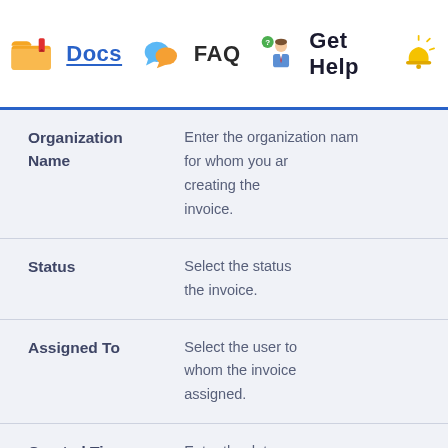Docs  FAQ  Get Help
| Field | Description |
| --- | --- |
| Organization Name | Enter the organization name for whom you are creating the invoice. |
| Status | Select the status the invoice. |
| Assigned To | Select the user to whom the invoice assigned. |
| Created Time | Enter the date when the invoice |